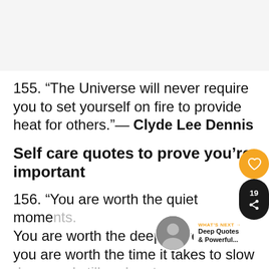[Figure (other): Gray background placeholder image area at top of page]
155. “The Universe will never require you to set yourself on fire to provide heat for others.”— Clyde Lee Dennis
Self care quotes to prove you’re important
156. “You are worth the quiet mome... You are worth the deeper bre... you are worth the time it takes to slow